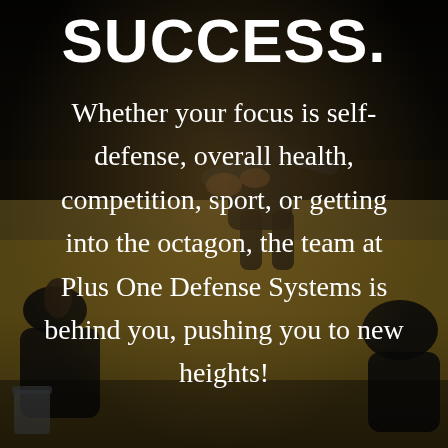[Figure (photo): Dark-toned photograph of martial arts practitioners in black uniforms training on a yellow mat. Figures are crouched and grappling, with a bucket visible at lower left.]
SUCCESS.
Whether your focus is self-defense, overall health, competition, sport, or getting into the octagon, the team at Plus One Defense Systems is behind you, pushing you to new heights!